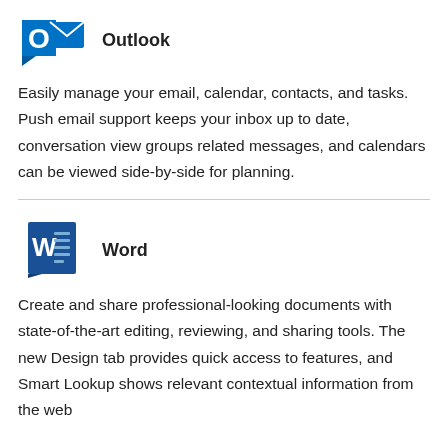[Figure (logo): Microsoft Outlook logo — blue O with envelope icon]
Outlook
Easily manage your email, calendar, contacts, and tasks. Push email support keeps your inbox up to date, conversation view groups related messages, and calendars can be viewed side-by-side for planning.
[Figure (logo): Microsoft Word logo — blue W with document lines icon]
Word
Create and share professional-looking documents with state-of-the-art editing, reviewing, and sharing tools. The new Design tab provides quick access to features, and Smart Lookup shows relevant contextual information from the web